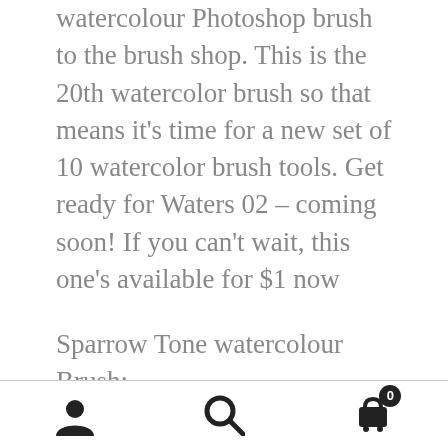watercolour Photoshop brush to the brush shop. This is the 20th watercolor brush so that means it's time for a new set of 10 watercolor brush tools. Get ready for Waters 02 – coming soon!  If you can't wait, this one's available for $1 now
Sparrow Tone watercolour Brush:
grutbrushes.com/shop/photoshop-brushes/sparrow-tone-photoshop-watercolor-brush/
[user icon] [search icon] [cart icon with 0]